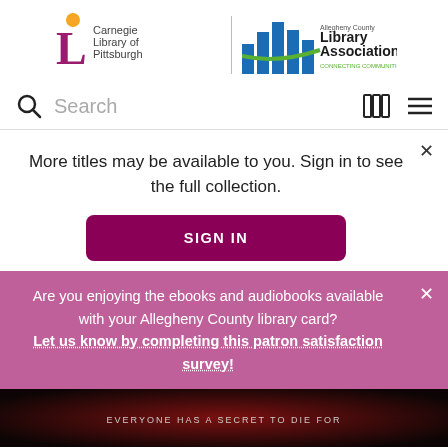[Figure (logo): Carnegie Library of Pittsburgh logo and Allegheny County Library Association logo side by side with a vertical divider]
Search
More titles may be available to you. Sign in to see the full collection.
SIGN IN
Are you enjoying the ebooks and audiobooks available with your Allegheny County library card? Let us know by completing this patron satisfaction survey!
[Figure (photo): Dark book cover with text EVERYONE HAS A SECRET TO DIE FOR]